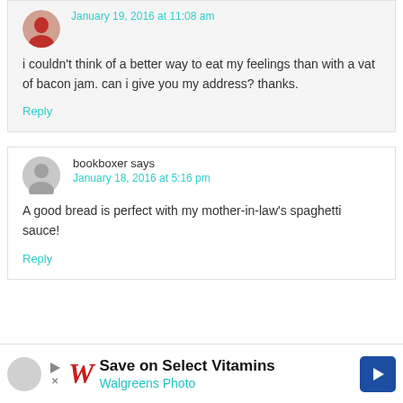January 19, 2016 at 11:08 am
i couldn't think of a better way to eat my feelings than with a vat of bacon jam. can i give you my address? thanks.
Reply
bookboxer says
January 18, 2016 at 5:16 pm
A good bread is perfect with my mother-in-law's spaghetti sauce!
Reply
[Figure (other): Walgreens advertisement banner: Save on Select Vitamins, Walgreens Photo]